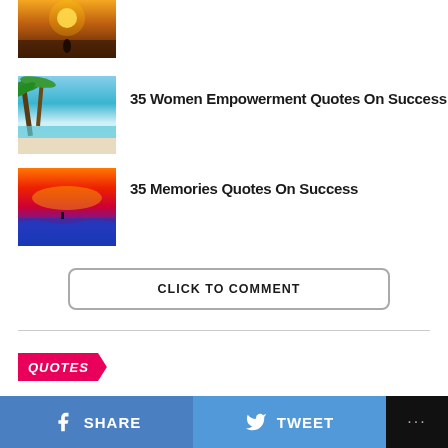[Figure (photo): Sunset beach scene with person sitting under palm tree]
[Figure (photo): Tropical beach with palm trees and turquoise water]
35 Women Empowerment Quotes On Success
[Figure (photo): Dramatic red and orange sunset over ocean waves]
35 Memories Quotes On Success
CLICK TO COMMENT
QUOTES
SHARE  TWEET  ...